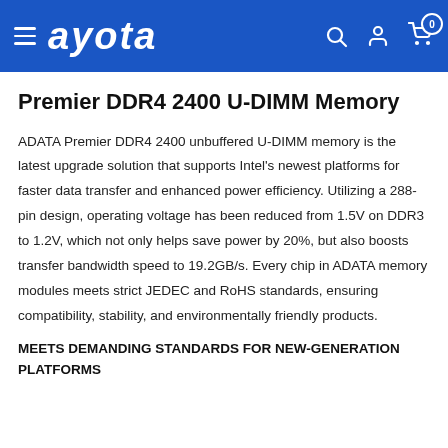ayota
Premier DDR4 2400 U-DIMM Memory
ADATA Premier DDR4 2400 unbuffered U-DIMM memory is the latest upgrade solution that supports Intel's newest platforms for faster data transfer and enhanced power efficiency. Utilizing a 288-pin design, operating voltage has been reduced from 1.5V on DDR3 to 1.2V, which not only helps save power by 20%, but also boosts transfer bandwidth speed to 19.2GB/s. Every chip in ADATA memory modules meets strict JEDEC and RoHS standards, ensuring compatibility, stability, and environmentally friendly products.
MEETS DEMANDING STANDARDS FOR NEW-GENERATION PLATFORMS